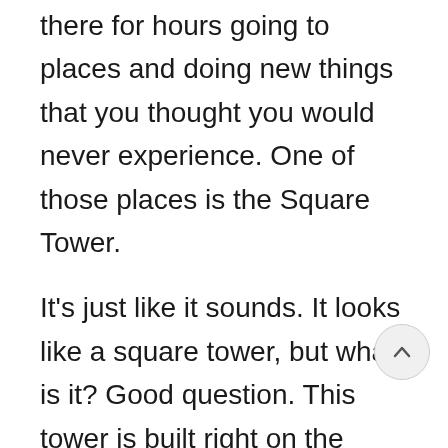there for hours going to places and doing new things that you thought you would never experience. One of those places is the Square Tower.
It's just like it sounds. It looks like a square tower, but what is it? Good question. This tower is built right on the edge of one of the famous canyons, called Little Ruin Canyon. It is close to a nearby road, so you can drive to it or walk there by choosing one of the h... trails. Many visitors spend 1-2 hours looking at the tower and all of its